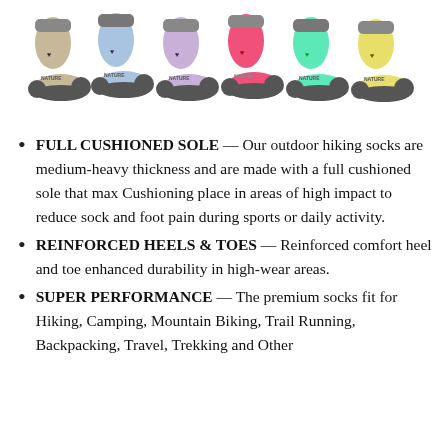[Figure (photo): Six colorful hiking socks displayed in a row, in colors: tan/beige, light blue, light purple, hot pink, mint green, and yellow, each with gray grip soles and a small logo.]
FULL CUSHIONED SOLE — Our outdoor hiking socks are medium-heavy thickness and are made with a full cushioned sole that max Cushioning place in areas of high impact to reduce sock and foot pain during sports or daily activity.
REINFORCED HEELS & TOES — Reinforced comfort heel and toe enhanced durability in high-wear areas.
SUPER PERFORMANCE — The premium socks fit for Hiking, Camping, Mountain Biking, Trail Running, Backpacking, Travel, Trekking and Other